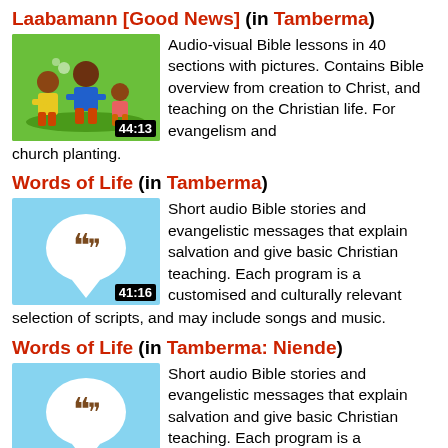Laabamann [Good News] (in Tamberma)
[Figure (photo): Thumbnail image showing Bible lesson scene with figures, duration 44:13]
Audio-visual Bible lessons in 40 sections with pictures. Contains Bible overview from creation to Christ, and teaching on the Christian life. For evangelism and church planting.
Words of Life (in Tamberma)
[Figure (illustration): Words of Life thumbnail with quote bubble icon on light blue background, duration 41:16]
Short audio Bible stories and evangelistic messages that explain salvation and give basic Christian teaching. Each program is a customised and culturally relevant selection of scripts, and may include songs and music.
Words of Life (in Tamberma: Niende)
[Figure (illustration): Words of Life thumbnail with quote bubble icon on light blue background, duration 40:17]
Short audio Bible stories and evangelistic messages that explain salvation and give basic Christian teaching. Each program is a customised and culturally relevant selection of scripts, and may include songs and music.